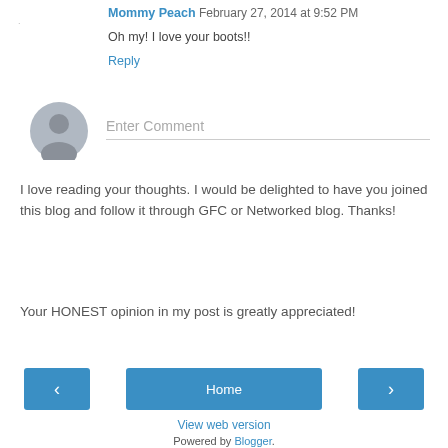Mommy Peach  February 27, 2014 at 9:52 PM
Oh my! I love your boots!!
Reply
[Figure (illustration): Gray circular avatar/user icon placeholder]
Enter Comment
I love reading your thoughts. I would be delighted to have you joined this blog and follow it through GFC or Networked blog. Thanks!
Your HONEST opinion in my post is greatly appreciated!
‹
Home
›
View web version
Powered by Blogger.